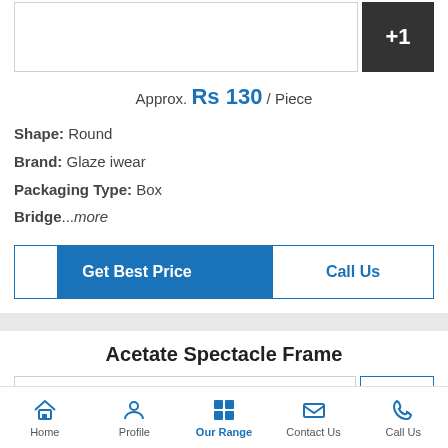[Figure (other): Product image placeholder with +1 overlay button]
Approx. Rs 130 / Piece
Shape: Round
Brand: Glaze iwear
Packaging Type: Box
Bridge...more
[Figure (other): Get Best Price and Call Us buttons]
Acetate Spectacle Frame
[Figure (other): Acetate Spectacle Frame product image placeholder with thumbnail]
Home | Profile | Our Range | Contact Us | Call Us